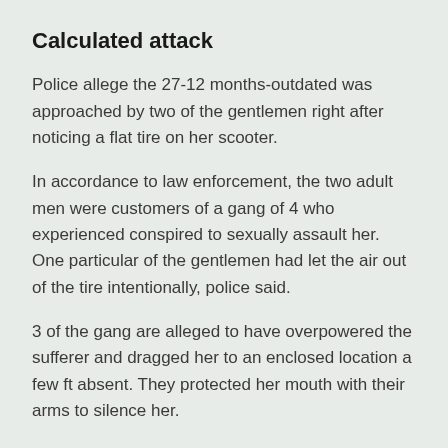Calculated attack
Police allege the 27-12 months-outdated was approached by two of the gentlemen right after noticing a flat tire on her scooter.
In accordance to law enforcement, the two adult men were customers of a gang of 4 who experienced conspired to sexually assault her. One particular of the gentlemen had let the air out of the tire intentionally, police said.
3 of the gang are alleged to have overpowered the sufferer and dragged her to an enclosed location a few ft absent. They protected her mouth with their arms to silence her.